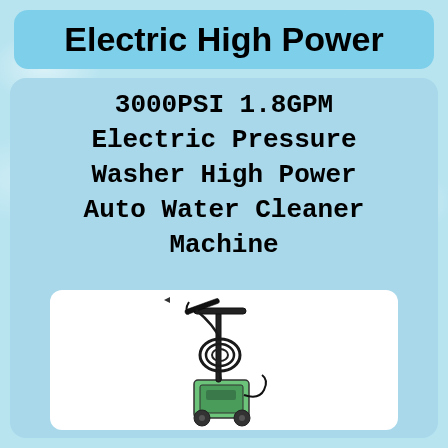Electric High Power
3000PSI 1.8GPM Electric Pressure Washer High Power Auto Water Cleaner Machine
[Figure (photo): Electric pressure washer with hose coiled around it, green and black color, standing upright on a white background]